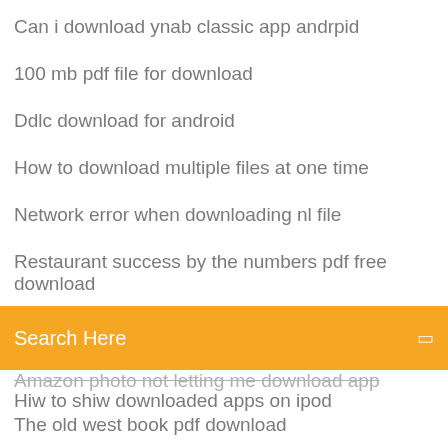Can i download ynab classic app andrpid
100 mb pdf file for download
Ddlc download for android
How to download multiple files at one time
Network error when downloading nl file
Restaurant success by the numbers pdf free download
Search Here
Amazon photo not letting me download app
Hiw to shiw downloaded apps on ipod
The old west book pdf download
Sirens movie torrent download
Download pdf book on terheatz science
Netgear unable to download gui language file
Downloading mp3 files to an ipod with itunes
Download mp3 file youtube converter
Ted talks pdf download
Cronache della galassia centrale pdf download
Department of motor vehicles wa pdf download